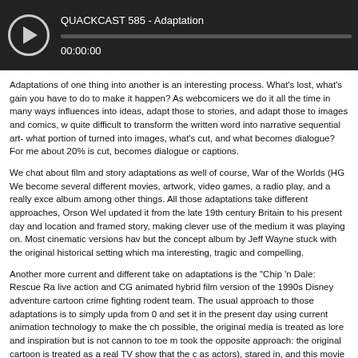[Figure (other): Audio player bar with play button icon, title 'QUACKCAST 585 - Adaptation', progress bar, and timestamp 00:00:00]
Adaptations of one thing into another is an interesting process. What's lost, what's gained, what do you have to do to make it happen? As webcomicers we do it all the time in many ways, we adapt influences into ideas, adapt those to stories, and adapt those to images and comics, w... quite difficult to transform the written word into narrative sequential art- what portion of... turned into images, what's cut, and what becomes dialogue? For me about 20% is cut,... becomes dialogue or captions.
We chat about film and story adaptations as well of course, War of the Worlds (HG We... become several different movies, artwork, video games, a radio play, and a really exce... album among other things. All those adaptations take different approaches, Orson Wel... updated it from the late 19th century Britain to his present day and location and framed... story, making clever use of the medium it was playing on. Most cinematic versions hav... but the concept album by Jeff Wayne stuck with the original historical setting which ma... interesting, tragic and compelling.
Another more current and different take on adaptations is the "Chip 'n Dale: Rescue Ra... live action and CG animated hybrid film version of the 1990s Disney adventure cartoon... crime fighting rodent team. The usual approach to those adaptations is to simply upda... from 0 and set it in the present day using current animation technology to make the ch... possible, the original media is treated as lore and inspiration but is not cannon to toe m... took the opposite approach: the original cartoon is treated as a real TV show that the c... as actors), stared in, and this movie shows their lives 30 years later. The animation is a... pseudo 2D cell animation, plus pseudo stop motion claymation and the film is largely u... animated adaptations in general, so it's perfect for this topic!
So what are you fave adaptations? Where dp they go wrong or right? And how do you... your own work?
This week Gunwallace has given us a theme to Amie Armageddon. Hard to describe th... great pop-song you'd hear on the radio or as the theme song to a big budget movie. Ev... evocative, layered, sounds… It sets a scene and then expands upon it. Just a really lo...